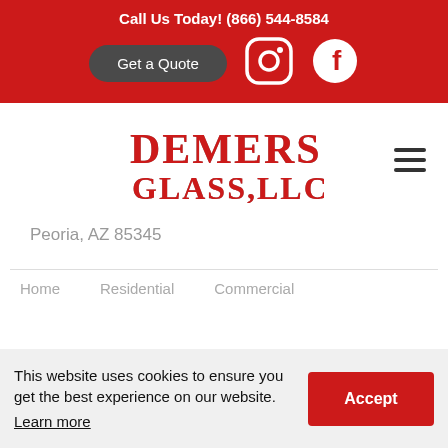Call Us Today! (866) 544-8584
Get a Quote
[Figure (logo): Instagram icon (white outline on red background)]
[Figure (logo): Facebook icon (white outline on red background)]
[Figure (logo): Demers Glass, LLC logo in red serif font with drop shadow]
Peoria, AZ 85345
This website uses cookies to ensure you get the best experience on our website. Learn more
Accept